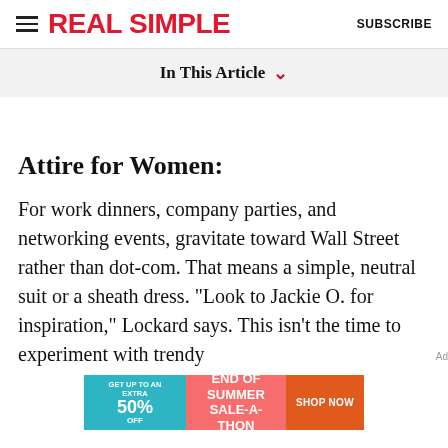REAL SIMPLE | SUBSCRIBE
In This Article ˅
Attire for Women:
For work dinners, company parties, and networking events, gravitate toward Wall Street rather than dot-com. That means a simple, neutral suit or a sheath dress. "Look to Jackie O. for inspiration," Lockard says. This isn't the time to experiment with trendy
[Figure (infographic): Advertisement banner: GET UP TO AN EXTRA 50% OFF | END OF SUMMER SALE-A-THON | SHOP NOW]